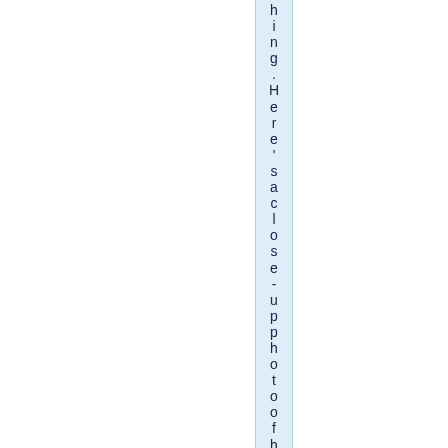hing. Here' saclose- upphotofh